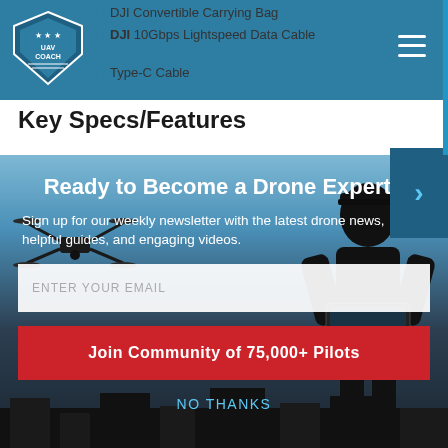DJI Convertible Carrying Bag
DJI 10Gbps Lightspeed Data Cable
Type-C Cable
Key Specs/Features
[Figure (screenshot): Modal popup overlay on a website showing a drone expert newsletter signup. Background shows a silhouette of a drone and a person using a tablet against a sky background.]
Ready to Become a Drone Expert?
Sign up for our weekly newsletter with the latest drone news, helpful guides, and engaging videos.
ENTER YOUR EMAIL
Join Community of 75,000+ Pilots
NO THANKS